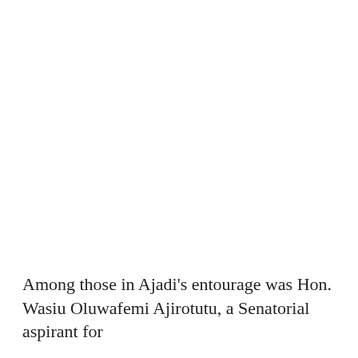Among those in Ajadi's entourage was Hon. Wasiu Oluwafemi Ajirotutu, a Senatorial aspirant for